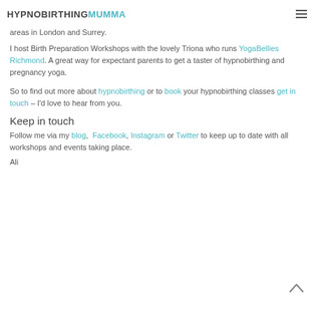HYPNOBIRTHINGMUMMA
areas in London and Surrey.
I host Birth Preparation Workshops with the lovely Triona who runs YogaBellies Richmond. A great way for expectant parents to get a taster of hypnobirthing and pregnancy yoga.
So to find out more about hypnobirthing or to book your hypnobirthing classes get in touch – I'd love to hear from you.
Keep in touch
Follow me via my blog, Facebook, Instagram or Twitter to keep up to date with all workshops and events taking place.
Ali